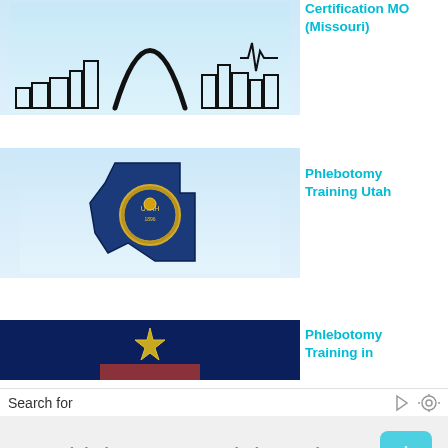[Figure (illustration): Light blue background showing Gateway Arch and St. Louis skyline outline in black]
Certification MO (Missouri)
[Figure (illustration): Light blue background with map of Utah state shape in dark blue with Utah state seal]
Phlebotomy Training Utah
[Figure (illustration): Dark navy blue background with partial Oklahoma state-related imagery]
Phlebotomy Training in
Search for
1.  Phlebotomy Training Class